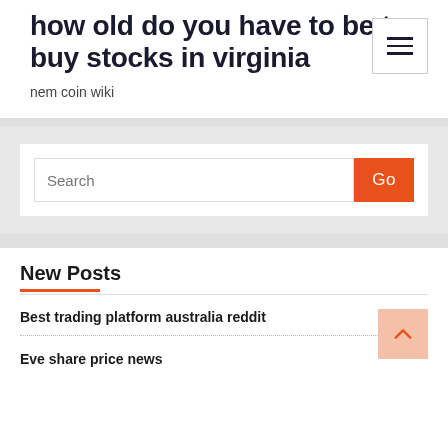how old do you have to be to buy stocks in virginia
nem coin wiki
New Posts
Best trading platform australia reddit
Eve share price news